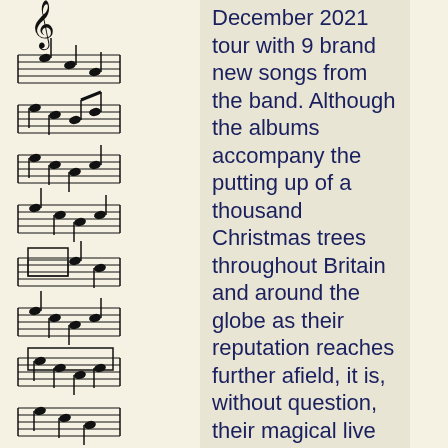[Figure (illustration): Musical score notation running vertically along the left side of the page, showing staff lines with notes, clef symbols, and musical notation marks in black on cream/yellow background.]
December 2021 tour with 9 brand new songs from the band. Although the albums accompany the putting up of a thousand Christmas trees throughout Britain and around the globe as their reputation reaches further afield, it is, without question, their magical live performances that have endeared them to an over